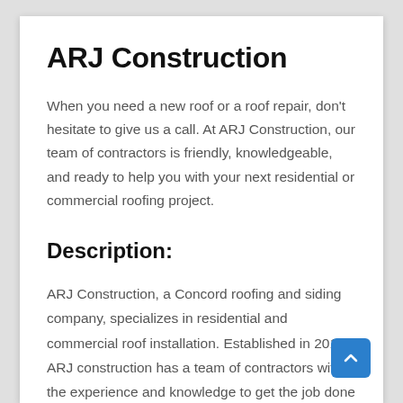ARJ Construction
When you need a new roof or a roof repair, don't hesitate to give us a call. At ARJ Construction, our team of contractors is friendly, knowledgeable, and ready to help you with your next residential or commercial roofing project.
Description:
ARJ Construction, a Concord roofing and siding company, specializes in residential and commercial roof installation. Established in 2010, ARJ construction has a team of contractors with the experience and knowledge to get the job done right the first time. Our professional services include estimates